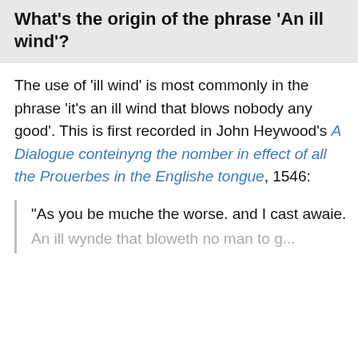What's the origin of the phrase 'An ill wind'?
The use of 'ill wind' is most commonly in the phrase 'it's an ill wind that blows nobody any good'. This is first recorded in John Heywood's A Dialogue conteinyng the nomber in effect of all the Prouerbes in the Englishe tongue, 1546:
"As you be muche the worse. and I cast awaie.
An ill wynde that bloweth no man to good, men saie.